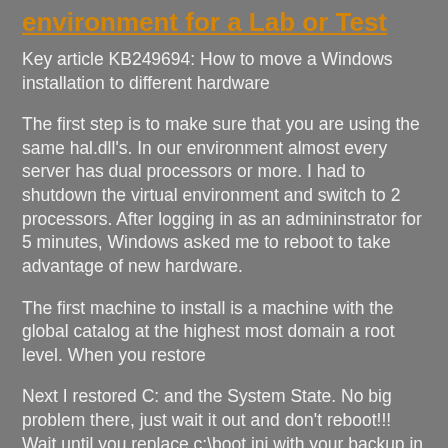environment for a Lab or Test
Key article KB249694: How to move a Windows installation to different hardware
The first step is to make sure that you are using the same hal.dll's. In our environment almost every server has dual processors or more. I had to shutdown the virtual environment and switch to 2 processors. After logging in as an admininstrator for 5 minutes, Windows asked me to reboot to take advantage of new hardware.
The first machine to install is a machine with the global catalog at the highest most domain a root level. When you restore
Next I restored C: and the System State. No big problem there, just wait it out and don't reboot!!! Wait until you replace c:\boot.ini with your backup in c:\backup. Also make sure that c:\windows\repair\boot.ini doesn't revert (only if you did this once before and have an old backup boot.ini here) Microsoft has a step for the first domain controller in a new